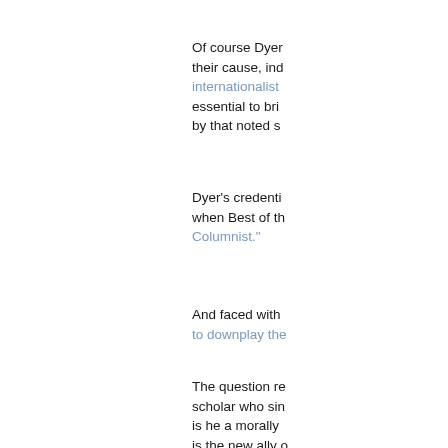Of course Dyer their cause, ind internationalist essential to bri by that noted s
Dyer's credenti when Best of th Columnist."
And faced with to downplay the
The question re scholar who sin is he a morally is the new ally o
Thanks to the n only was Dyer w the wrong side
Here's an inter death throes - a